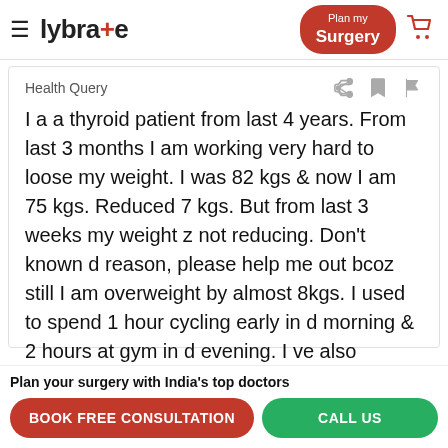lybra+e  Plan my Surgery
Health Query
I a a thyroid patient from last 4 years. From last 3 months I am working very hard to loose my weight. I was 82 kgs & now I am 75 kgs. Reduced 7 kgs. But from last 3 weeks my weight z not reducing. Don't known d reason, please help me out bcoz still I am overweight by almost 8kgs. I used to spend 1 hour cycling early in d morning & 2 hours at gym in d evening. I ve also stopped junk food. please help
Plan your surgery with India's top doctors
BOOK FREE CONSULTATION   CALL US